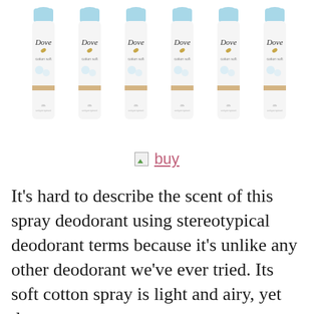[Figure (photo): Six Dove Cotton Soft spray deodorant cans arranged side by side in a row, each with a light blue cap and white body with the Dove logo and 'cotton soft' branding visible.]
[Figure (other): A broken image icon followed by a pink underlined 'buy' link text.]
It's hard to describe the scent of this spray deodorant using stereotypical deodorant terms because it's unlike any other deodorant we've ever tried. Its soft cotton spray is light and airy, yet does a